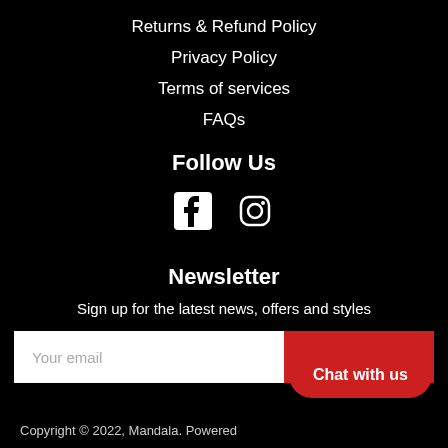Returns & Refund Policy
Privacy Policy
Terms of services
FAQs
Follow Us
[Figure (other): Facebook and Instagram social media icons in white on black background]
Newsletter
Sign up for the latest news, offers and styles
Your email | SUBSCRIBE
Chat with us
Copyright © 2022, Mandala. Powered